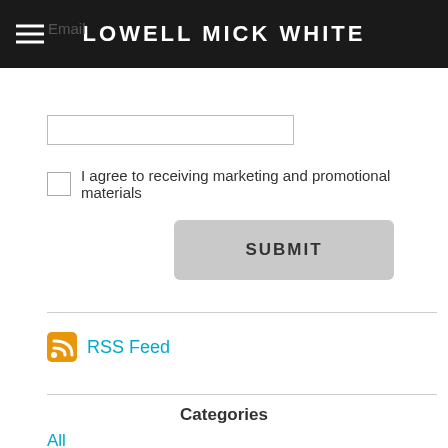LOWELL MICK WHITE
Email
I agree to receiving marketing and promotional materials
SUBMIT
RSS Feed
Categories
All
1920s
1960s
1970s